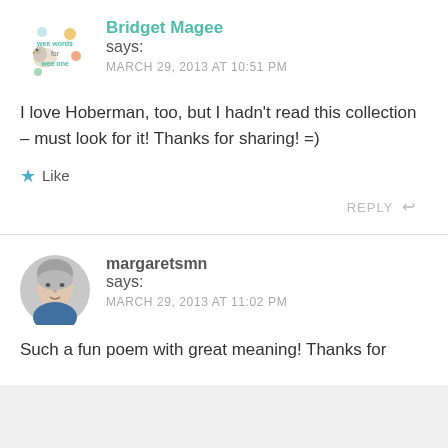Bridget Magee says: MARCH 29, 2013 AT 10:51 PM
I love Hoberman, too, but I hadn't read this collection – must look for it! Thanks for sharing! =)
Like
REPLY
margaretsmn says: MARCH 29, 2013 AT 11:02 PM
Such a fun poem with great meaning! Thanks for